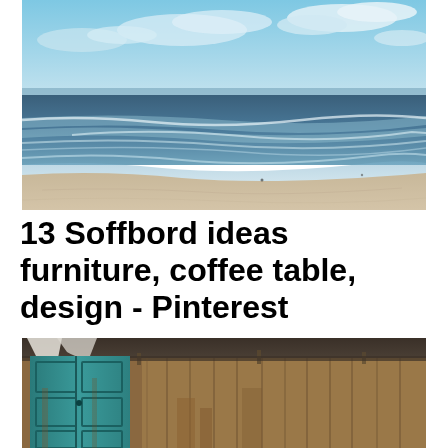[Figure (photo): Aerial or elevated view of a beach with ocean waves and a cloudy sky. Sandy shore in the lower left, waves approaching diagonally, deep blue-grey ocean and partly cloudy sky.]
13 Soffbord ideas furniture, coffee table, design - Pinterest
[Figure (photo): Weathered wooden shed or barn facade with a teal/turquoise painted paneled door on the left and wooden plank walls in warm brown tones. Rustic, distressed appearance.]